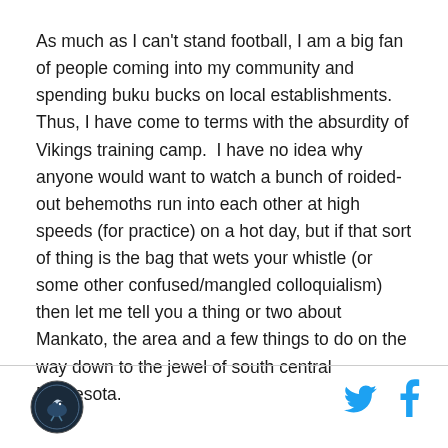As much as I can't stand football, I am a big fan of people coming into my community and spending buku bucks on local establishments.  Thus, I have come to terms with the absurdity of Vikings training camp.  I have no idea why anyone would want to watch a bunch of roided-out behemoths run into each other at high speeds (for practice) on a hot day, but if that sort of thing is the bag that wets your whistle (or some other confused/mangled colloquialism) then let me tell you a thing or two about Mankato, the area and a few things to do on the way down to the jewel of south central Minnesota.
logo and social icons